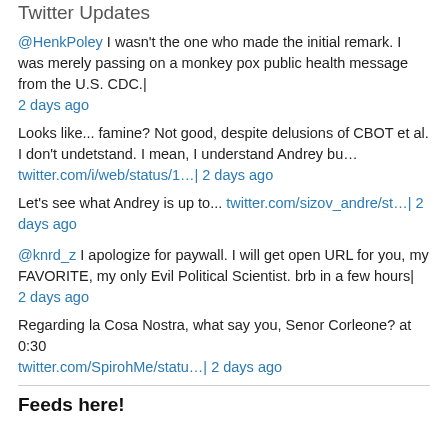Twitter Updates
@HenkPoley I wasn't the one who made the initial remark. I was merely passing on a monkey pox public health message from the U.S. CDC.|
2 days ago
Looks like... famine? Not good, despite delusions of CBOT et al. I don't undetstand. I mean, I understand Andrey bu…
twitter.com/i/web/status/1…| 2 days ago
Let's see what Andrey is up to... twitter.com/sizov_andre/st…| 2 days ago
@knrd_z I apologize for paywall. I will get open URL for you, my FAVORITE, my only Evil Political Scientist. brb in a few hours|
2 days ago
Regarding la Cosa Nostra, what say you, Senor Corleone? at 0:30
twitter.com/SpirohMe/statu…| 2 days ago
Feeds here!